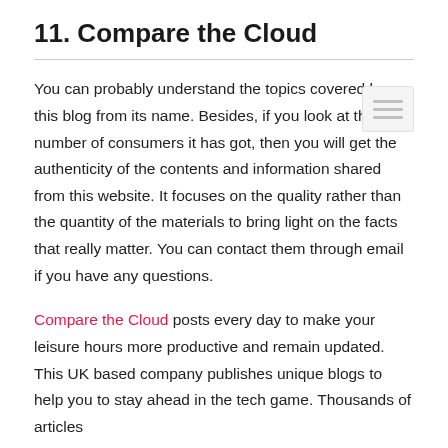11. Compare the Cloud
You can probably understand the topics covered by this blog from its name. Besides, if you look at the number of consumers it has got, then you will get the authenticity of the contents and information shared from this website. It focuses on the quality rather than the quantity of the materials to bring light on the facts that really matter. You can contact them through email if you have any questions.
Compare the Cloud posts every day to make your leisure hours more productive and remain updated. This UK based company publishes unique blogs to help you to stay ahead in the tech game. Thousands of articles